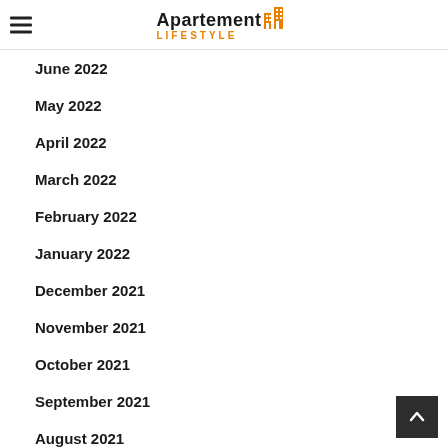Apartement LIFESTYLE
June 2022
May 2022
April 2022
March 2022
February 2022
January 2022
December 2021
November 2021
October 2021
September 2021
August 2021
July 2021
June 2021
May 2021